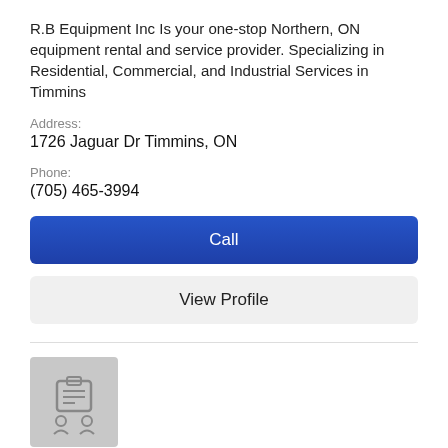R.B Equipment Inc Is your one-stop Northern, ON equipment rental and service provider. Specializing in Residential, Commercial, and Industrial Services in Timmins
Address:
1726 Jaguar Dr Timmins, ON
Phone:
(705) 465-3994
Call
View Profile
[Figure (logo): Company placeholder logo icon with a clipboard and two person silhouettes on a gray background]
Pro Pipe Construction
Building Contractors
Mechanical Contractors
Address:
306 Dalton St S Timmins, ON